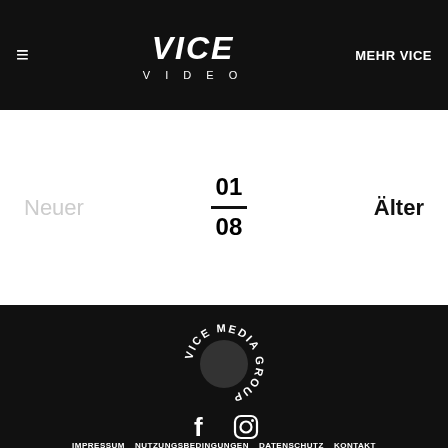≡  VICE VIDEO  MEHR VICE
Neuer
01 / 08
Älter
[Figure (logo): Vice Media Group circular logo in white on black background]
[Figure (illustration): Facebook and Instagram social media icons in white]
IMPRESSUM  NUTZUNGSBEDINGUNGEN  DATENSCHUTZ  KONTAKT